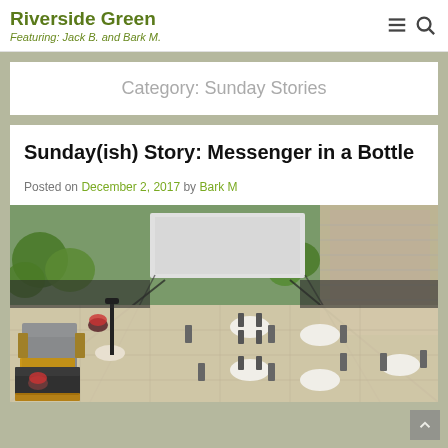Riverside Green
Featuring: Jack B. and Bark M.
Category: Sunday Stories
Sunday(ish) Story: Messenger in a Bottle
Posted on December 2, 2017 by Bark M
[Figure (photo): Aerial view of a rooftop terrace/patio with outdoor furniture including sofas, lounge chairs, and bistro tables with chairs arranged on a paved surface, surrounded by urban buildings and green trees.]